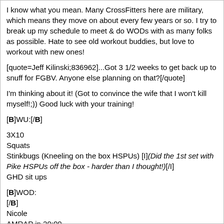I know what you mean. Many CrossFitters here are military, which means they move on about every few years or so. I try to break up my schedule to meet & do WODs with as many folks as possible. Hate to see old workout buddies, but love to workout with new ones!
[quote=Jeff Kilinski;836962]...Got 3 1/2 weeks to get back up to snuff for FGBV. Anyone else planning on that?[/quote]
I'm thinking about it! (Got to convince the wife that I won't kill myself!;)) Good luck with your training!
[B]WU:[/B]
3X10
Squats
Stinkbugs (Kneeling on the box HSPUs) [I](Did the 1st set with Pike HSPUs off the box - harder than I thought!)[/I]
GHD sit ups
[B]WOD:
[/B]
Nicole
AMRAP in 20:00
400m run
As many pull ups as you can until can't
5 rounds 6/6/6/6/5 kipping pull ups :pepper:
PLUS an additional 400m since I couldn't hang on for 20-25 sec!:ranting2: